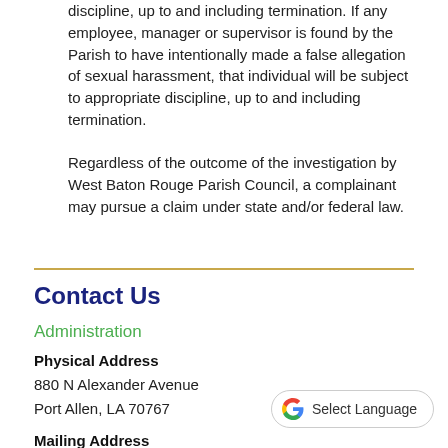discipline, up to and including termination. If any employee, manager or supervisor is found by the Parish to have intentionally made a false allegation of sexual harassment, that individual will be subject to appropriate discipline, up to and including termination.
Regardless of the outcome of the investigation by West Baton Rouge Parish Council, a complainant may pursue a claim under state and/or federal law.
Contact Us
Administration
Physical Address
880 N Alexander Avenue
Port Allen, LA 70767
[Figure (other): Google Translate button with Google G logo and 'Select Language' text]
Mailing Address